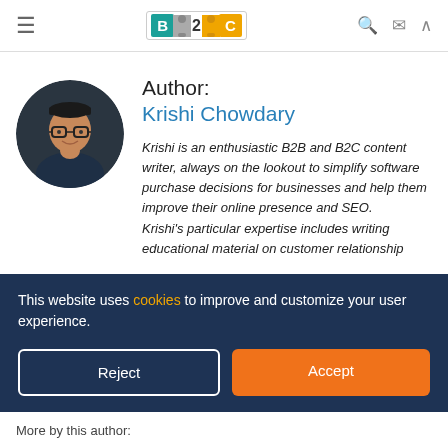B2C (logo/navigation header)
[Figure (photo): Circular profile photo of Krishi Chowdary, a young man with glasses wearing a dark shirt]
Author:
Krishi Chowdary
Krishi is an enthusiastic B2B and B2C content writer, always on the lookout to simplify software purchase decisions for businesses and help them improve their online presence and SEO.
Krishi’s particular expertise includes writing educational material on customer relationship
This website uses cookies to improve and customize your user experience.
Reject
Accept
More by this author: